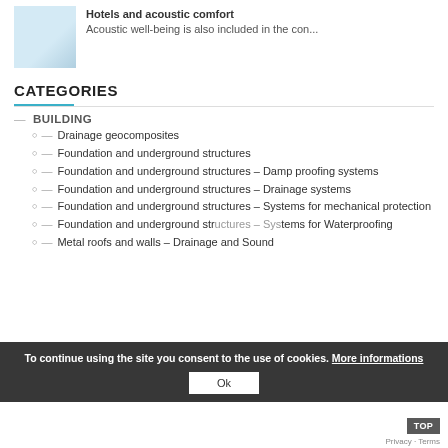[Figure (photo): Small thumbnail photo of a hotel room or interior with light tones]
Hotels and acoustic comfort
Acoustic well-being is also included in the con...
CATEGORIES
BUILDING
Drainage geocomposites
Foundation and underground structures
Foundation and underground structures – Damp proofing systems
Foundation and underground structures – Drainage systems
Foundation and underground structures – Systems for mechanical protection
Foundation and underground structures – Systems for Waterproofing
Metal roofs and walls – Drainage and Sound
To continue using the site you consent to the use of cookies. More informations
Ok